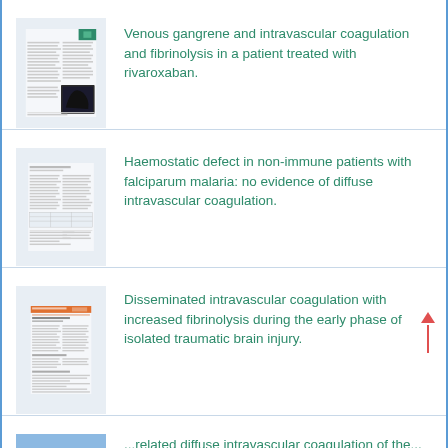[Figure (illustration): Thumbnail of a medical journal article page with text columns and a dark clinical image at bottom right]
Venous gangrene and intravascular coagulation and fibrinolysis in a patient treated with rivaroxaban.
[Figure (illustration): Thumbnail of a medical journal article page with text columns and small table/figures]
Haemostatic defect in non-immune patients with falciparum malaria: no evidence of diffuse intravascular coagulation.
[Figure (illustration): Thumbnail of a medical journal article page with orange/red header bar and dense text columns]
Disseminated intravascular coagulation with increased fibrinolysis during the early phase of isolated traumatic brain injury.
[Figure (illustration): Thumbnail of a medical journal article page partially visible at bottom]
...related diffuse intravascular coagulation of the...